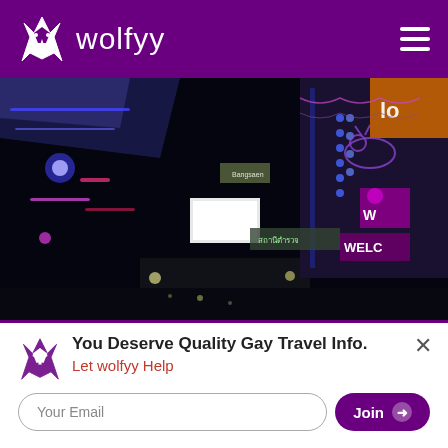wolfyy
[Figure (photo): Night street scene with colorful neon lights and illuminated signs, purple and blue lighting, busy entertainment district]
You Deserve Quality Gay Travel Info.
Let wolfyy Help